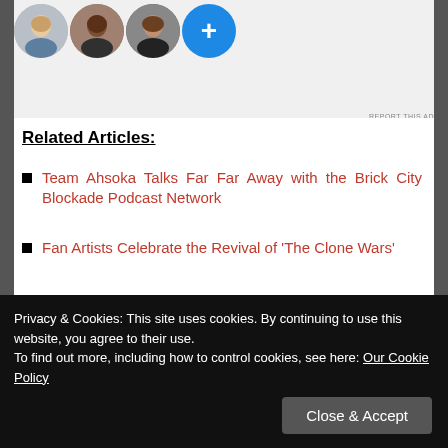[Figure (illustration): Three circular avatar photos of people plus a blue circle with a plus sign, shown in a light gray advertisement area]
Related Articles:
Team Ahsoka Talks Far Far Away with the Brick City Blockade Podcast Network
Fan Artists Celebrate the Revival of ‘The Clone Wars’
Fan Artists Celebrate the Revival of ‘The Clone Wars’ (Part Two)
Advertisements
Privacy & Cookies: This site uses cookies. By continuing to use this website, you agree to their use.
To find out more, including how to control cookies, see here: Our Cookie Policy